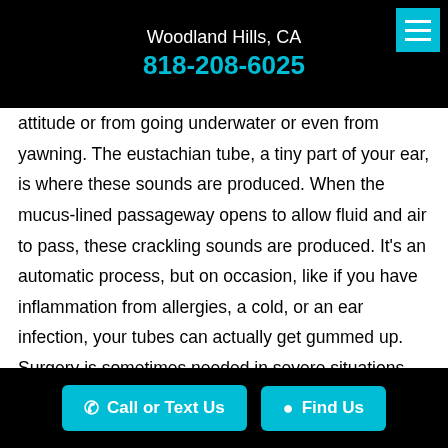Woodland Hills, CA
818-208-6025
attitude or from going underwater or even from yawning. The eustachian tube, a tiny part of your ear, is where these sounds are produced. When the mucus-lined passageway opens to allow fluid and air to pass, these crackling sounds are produced. It's an automatic process, but on occasion, like if you have inflammation from allergies, a cold, or an ear infection, your tubes can actually get gummed up. Surgery is sometimes needed in severe situations when the blockage isn't improved by decongestants or antibiotics. If you're having persistent ear pain or pressure, you should
Call or Text Us   Find Us